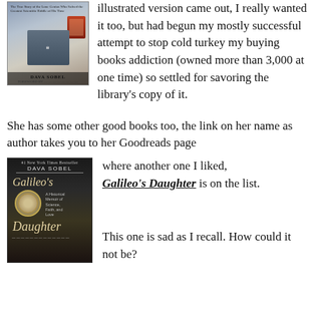[Figure (photo): Book cover of a Dava Sobel book (illustrated version), showing historical maritime/astronomical imagery]
illustrated version came out, I really wanted it too, but had begun my mostly successful attempt to stop cold turkey my buying books addiction (owned more than 3,000 at one time) so settled for savoring the library's copy of it.
She has some other good books too, the link on her name as author takes you to her Goodreads page where another one I liked, Galileo's Daughter is on the list.
[Figure (photo): Book cover of Galileo's Daughter by Dava Sobel, dark background with portrait of Galileo and a medallion]
This one is sad as I recall. How could it not be?